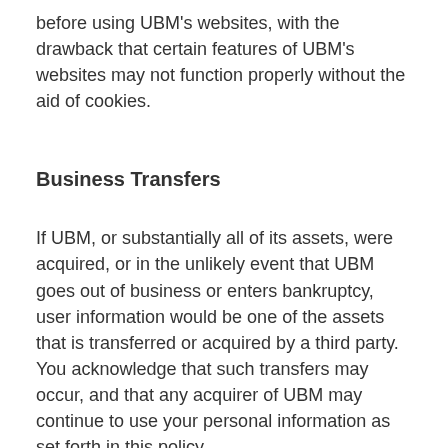before using UBM's websites, with the drawback that certain features of UBM's websites may not function properly without the aid of cookies.
Business Transfers
If UBM, or substantially all of its assets, were acquired, or in the unlikely event that UBM goes out of business or enters bankruptcy, user information would be one of the assets that is transferred or acquired by a third party. You acknowledge that such transfers may occur, and that any acquirer of UBM may continue to use your personal information as set forth in this policy.
Ads
Ads appearing on any of our websites may be delivered to